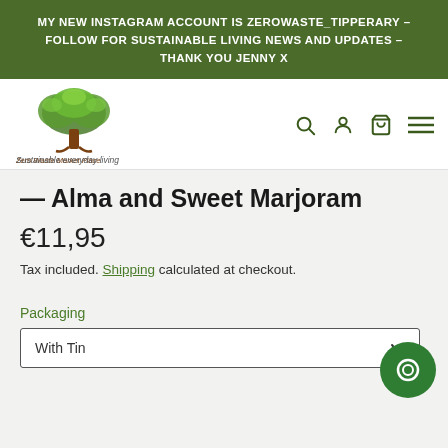MY NEW INSTAGRAM ACCOUNT IS ZEROWASTE_TIPPERARY - FOLLOW FOR SUSTAINABLE LIVING NEWS AND UPDATES - THANK YOU JENNY X
[Figure (logo): Zero Waste Market Place logo with tree and tagline 'Sustainable everyday living']
— Alma and Sweet Marjoram
€11,95
Tax included. Shipping calculated at checkout.
Packaging
With Tin